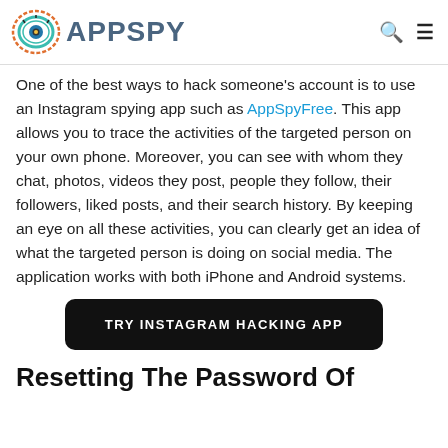APPSPY
One of the best ways to hack someone's account is to use an Instagram spying app such as AppSpyFree. This app allows you to trace the activities of the targeted person on your own phone. Moreover, you can see with whom they chat, photos, videos they post, people they follow, their followers, liked posts, and their search history. By keeping an eye on all these activities, you can clearly get an idea of what the targeted person is doing on social media. The application works with both iPhone and Android systems.
[Figure (other): Black rounded button with text TRY INSTAGRAM HACKING APP]
Resetting The Password Of